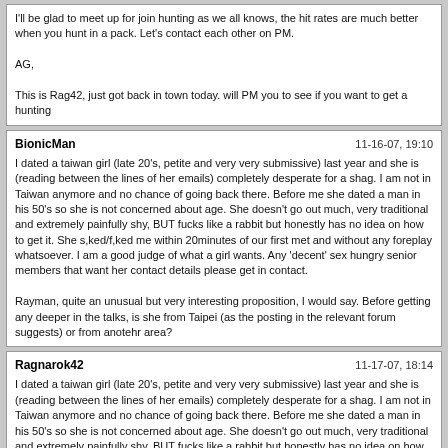I'll be glad to meet up for join hunting as we all knows, the hit rates are much better when you hunt in a pack. Let's contact each other on PM.

AG,

This is Rag42, just got back in town today. will PM you to see if you want to get a hunting
BionicMan | 11-16-07, 19:10

I dated a taiwan girl (late 20's, petite and very very submissive) last year and she is (reading between the lines of her emails) completely desperate for a shag. I am not in Taiwan anymore and no chance of going back there. Before me she dated a man in his 50's so she is not concerned about age. She doesn't go out much, very traditional and extremely painfully shy, BUT fucks like a rabbit but honestly has no idea on how to get it. She s,ked/f,ked me within 20minutes of our first met and without any foreplay whatsoever. I am a good judge of what a girl wants. Any 'decent' sex hungry senior members that want her contact details please get in contact.

Rayman, quite an unusual but very interesting proposition, I would say. Before getting any deeper in the talks, is she from Taipei (as the posting in the relevant forum suggests) or from anotehr area?
Ragnarok42 | 11-17-07, 18:14

I dated a taiwan girl (late 20's, petite and very very submissive) last year and she is (reading between the lines of her emails) completely desperate for a shag. I am not in Taiwan anymore and no chance of going back there. Before me she dated a man in his 50's so she is not concerned about age. She doesn't go out much, very traditional and extremely painfully shy, BUT fucks like a rabbit but honestly has no idea on how to get it. She s,ked/f,ked me within 20minutes of our first met and without any foreplay whatsoever. I am a good judge of what a girl wants. Any 'decent' sex hungry senior members that want her contact details please get in contact.